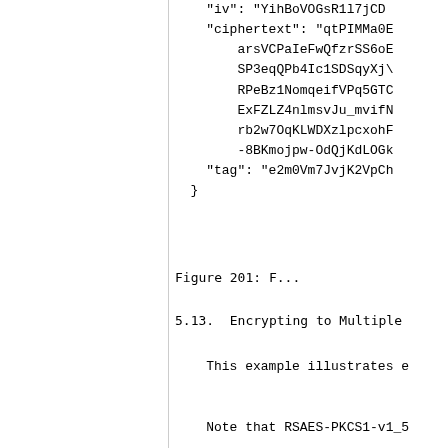[Figure (screenshot): Code block showing JSON object with iv, ciphertext, and tag fields. Content is partially cut off on the right side.]
Figure 201: F...
5.13.  Encrypting to Multiple...
This example illustrates e...
As this example has multip...
Serialization is possible...
Note that RSAES-PKCS1-v1_5...
ciphertext: it might not...